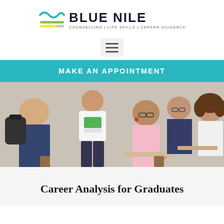[Figure (logo): Blue Nile logo with teal wave icon and colored stripes, text reads BLUE NILE, subtitle: COUNSELLING | LIFE SKILLS | CAREER GUIDANCE]
[Figure (other): Hamburger menu icon inside a light gray rounded box]
MAKE AN APPOINTMENT
[Figure (photo): Students in a classroom setting. A woman in a pink top writes at a desk, a man in a dark sweater and glasses sits behind her, a woman with curly hair sits to the right, and a student stands on the left holding books and a backpack.]
Career Analysis for Graduates